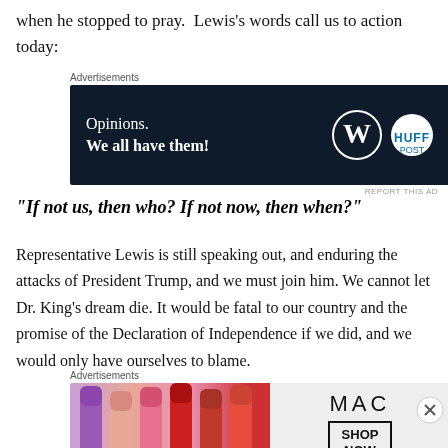when he stopped to pray.  Lewis's words call us to action today:
[Figure (screenshot): Advertisement banner: dark navy background with text 'Opinions. We all have them!' and WordPress and HuffPost logos]
“If not us, then who? If not now, then when?”
Representative Lewis is still speaking out, and enduring the attacks of President Trump, and we must join him. We cannot let Dr. King's dream die. It would be fatal to our country and the promise of the Declaration of Independence if we did, and we would only have ourselves to blame.
[Figure (screenshot): MAC Cosmetics advertisement with lipstick products and 'SHOP NOW' button]